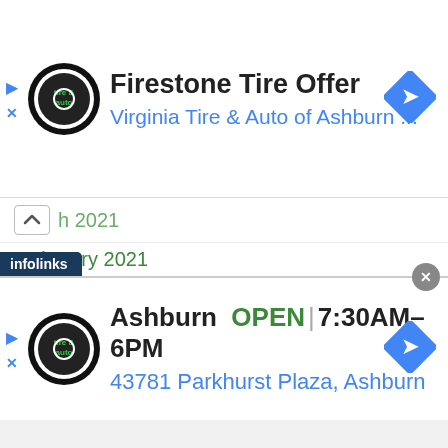[Figure (screenshot): Top advertisement banner: Firestone Tire Offer by Virginia Tire & Auto of Ashburn, with logo and navigation icon]
h 2021
February 2021
January 2021
December 2020
November 2020
October 2020
September 2020
August 2020
July 2020
June 2020
May 2020
[Figure (screenshot): Bottom advertisement banner: Ashburn OPEN 7:30AM-6PM, 43781 Parkhurst Plaza Ashburn, with Virginia Tire & Auto logo and navigation icon]